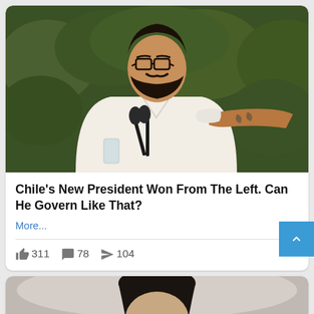[Figure (photo): Man with beard and glasses in white shirt at microphones, outdoors with green foliage background, someone handing him a cloth]
Chile's New President Won From The Left. Can He Govern Like That?
More...
👍 311  💬 78  ➤ 104
[Figure (photo): Partial photo of a woman with dark hair, cropped at bottom of page]